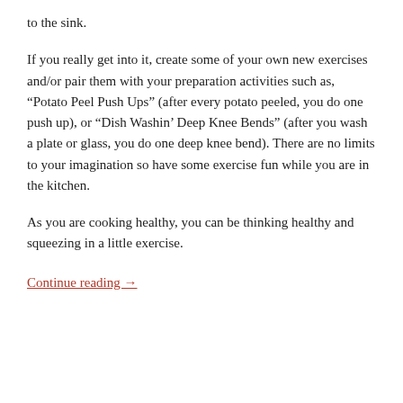to the sink.
If you really get into it, create some of your own new exercises and/or pair them with your preparation activities such as, “Potato Peel Push Ups” (after every potato peeled, you do one push up), or “Dish Washin’ Deep Knee Bends” (after you wash a plate or glass, you do one deep knee bend). There are no limits to your imagination so have some exercise fun while you are in the kitchen.
As you are cooking healthy, you can be thinking healthy and squeezing in a little exercise.
Continue reading →